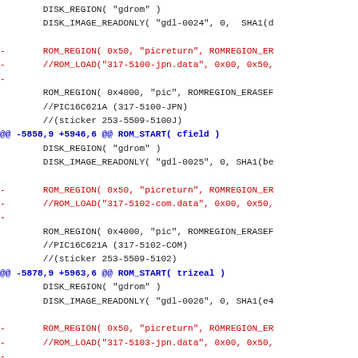Diff/patch code excerpt showing ROM region definitions for gdrom disk images with SHA1 hashes, picreturn and pic ROM regions for various Naomi GD-ROM titles (cfield, trizeal, meltybld)